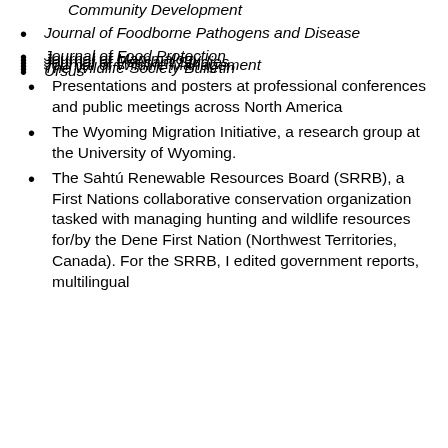Community Development
Journal of Foodborne Pathogens and Disease
Journal of Food Protection
Journal of Mammalogy
Journal of Peasant Studies
Journal of Wildlife Management
The Wildlife Society Bulletin
Ursus
Presentations and posters at professional conferences and public meetings across North America
The Wyoming Migration Initiative, a research group at the University of Wyoming.
The Sahtú Renewable Resources Board (SRRB), a First Nations collaborative conservation organization tasked with managing hunting and wildlife resources for/by the Dene First Nation (Northwest Territories, Canada). For the SRRB, I edited government reports, multilingual